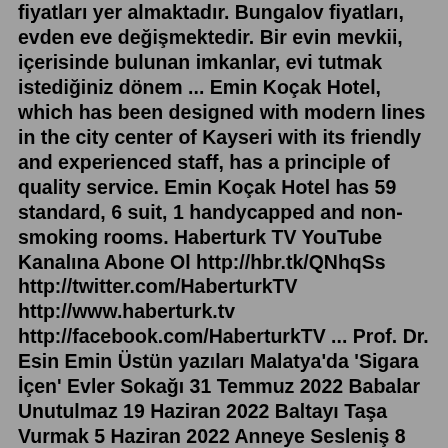fiyatları yer almaktadır. Bungalov fiyatları, evden eve değişmektedir. Bir evin mevkii, içerisinde bulunan imkanlar, evi tutmak istediğiniz dönem ... Emin Koçak Hotel, which has been designed with modern lines in the city center of Kayseri with its friendly and experienced staff, has a principle of quality service. Emin Koçak Hotel has 59 standard, 6 suit, 1 handycapped and non-smoking rooms. Haberturk TV YouTube Kanalına Abone Ol http://hbr.tk/QNhqSs http://twitter.com/HaberturkTV http://www.haberturk.tv http://facebook.com/HaberturkTV ... Prof. Dr. Esin Emin Üstün yazıları Malatya'da 'Sigara İçen' Evler Sokağı 31 Temmuz 2022 Babalar Unutulmaz 19 Haziran 2022 Baltayı Taşa Vurmak 5 Haziran 2022 Anneye Sesleniş 8 Mayıs 2022 Hekimlik ve Tıp Bayramı 15 Mart 2022 Malatya'da '1945- 1955Emin Koçak Hotel, which has been designed with modern lines in the city center of Kayseri with its friendly and experienced staff, has a principle of quality service. Emin Koçak Hotel has 59 standard, 6 suit, 1